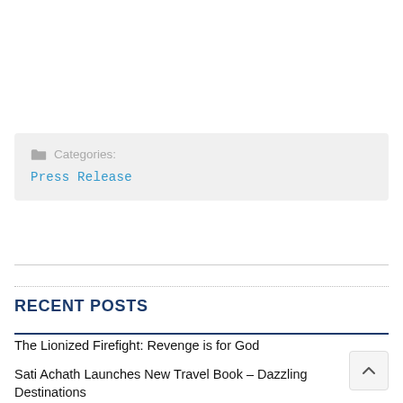Categories: Press Release
RECENT POSTS
The Lionized Firefight: Revenge is for God
Sati Achath Launches New Travel Book – Dazzling Destinations